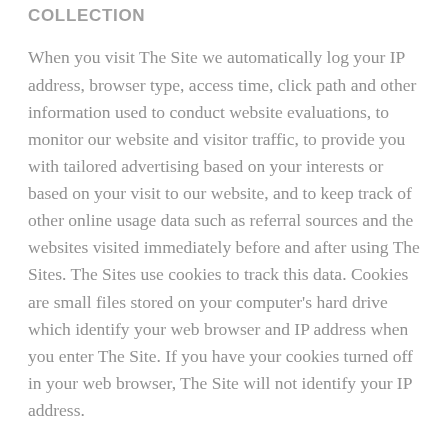COLLECTION
When you visit The Site we automatically log your IP address, browser type, access time, click path and other information used to conduct website evaluations, to monitor our website and visitor traffic, to provide you with tailored advertising based on your interests or based on your visit to our website, and to keep track of other online usage data such as referral sources and the websites visited immediately before and after using The Sites. The Sites use cookies to track this data. Cookies are small files stored on your computer's hard drive which identify your web browser and IP address when you enter The Site. If you have your cookies turned off in your web browser, The Site will not identify your IP address.
Log files such as those described in this paragraph, are not tied to personally identifiable information and we